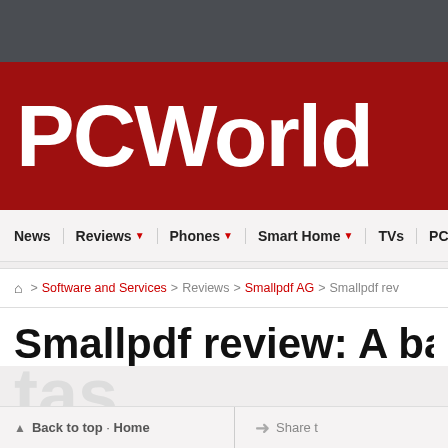PCWorld
News | Reviews | Phones | Smart Home | TVs | PC
Home > Software and Services > Reviews > Smallpdf AG > Smallpdf re...
Smallpdf review: A basic PD...
Back to top · Home   Share t...